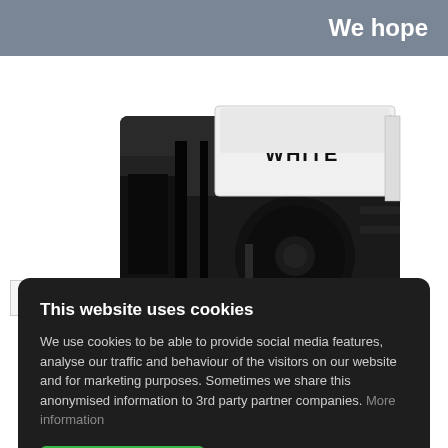We hope
[Figure (photo): Close-up photo of a black label tape cartridge with white tape, partially showing the word WHITE on the label]
This website uses cookies
We use cookies to be able to provide social media features, analyse our traffic and behaviour of the visitors on our website and for marketing purposes. Sometimes we share this anonymised information to 3rd party partner companies. More information
I accept all Cookies
Change settings